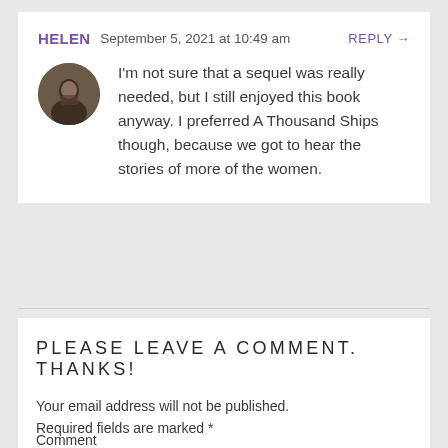HELEN  September 5, 2021 at 10:49 am  REPLY →
[Figure (photo): Circular avatar photo of a person reading a book, dark tones]
I'm not sure that a sequel was really needed, but I still enjoyed this book anyway. I preferred A Thousand Ships though, because we got to hear the stories of more of the women.
PLEASE LEAVE A COMMENT. THANKS!
Your email address will not be published. Required fields are marked *
Comment